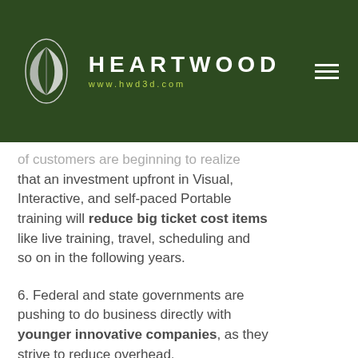HEARTWOOD www.hwd3d.com
of customers are beginning to realize that an investment upfront in Visual, Interactive, and self-paced Portable training will reduce big ticket cost items like live training, travel, scheduling and so on in the following years.
6. Federal and state governments are pushing to do business directly with younger innovative companies, as they strive to reduce overhead.
There are challenges, of course – like developing better ways to measure results to show simulation-based training as a money-saving tool, not a money-spending tool – but just as the analog to digital revolution took place